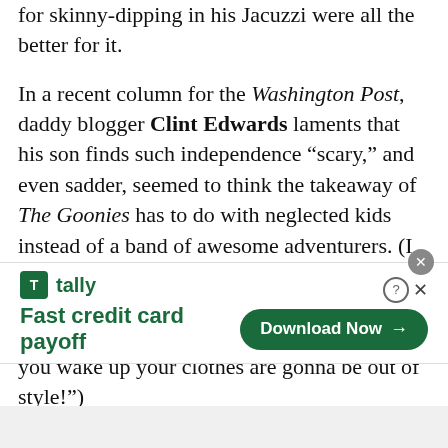for skinny-dipping in his Jacuzzi were all the better for it.
In a recent column for the Washington Post, daddy blogger Clint Edwards laments that his son finds such independence “scary,” and even sadder, seemed to think the takeaway of The Goonies has to do with neglected kids instead of a band of awesome adventurers. (I can only imagine what the poor thing thought about sibling abuse when big brother Brand threatens “I’m gonna hit you so hard, when you wake up your clothes are gonna be out of style!”)
[Figure (screenshot): Advertisement banner for Tally app. Shows Tally logo (green square icon with 'T'), 'tally' text in green, tagline 'Fast credit card payoff' in bold green, and a green 'Download Now →' button on the right.]